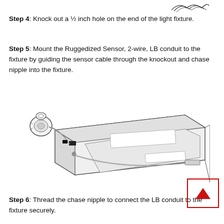[Figure (illustration): Partial view of twisted wire bundle at top of page]
Step 4: Knock out a ½ inch hole on the end of the light fixture.
Step 5: Mount the Ruggedized Sensor, 2-wire, LB conduit to the fixture by guiding the sensor cable through the knockout and chase nipple into the fixture.
[Figure (illustration): Diagram showing a ruggedized sensor being mounted to a light fixture. The sensor with circular housing is connected via a cable through a knockout in the end of the elongated light fixture. A chase nipple and conduit are shown guiding the sensor cable into the fixture body.]
Step 6: Thread the chase nipple to connect the LB conduit to the fixture securely.